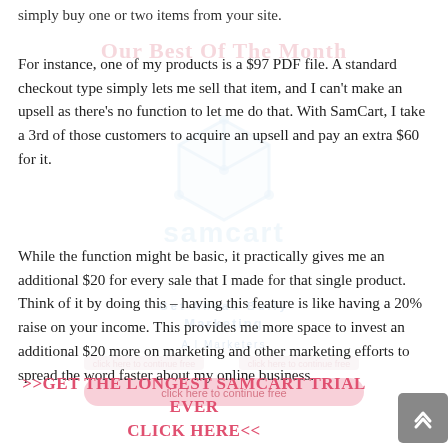simply buy one or two items from your site.
For instance, one of my products is a $97 PDF file. A standard checkout type simply lets me sell that item, and I can't make an upsell as there's no function to let me do that. With SamCart, I take a 3rd of those customers to acquire an upsell and pay an extra $60 for it.
While the function might be basic, it practically gives me an additional $20 for every sale that I made for that single product. Think of it by doing this – having this feature is like having a 20% raise on your income. This provides me more space to invest an additional $20 more on marketing and other marketing efforts to spread the word faster about my online business.
>>GET THE LONGEST SAMCART TRIAL EVER CLICK HERE<<